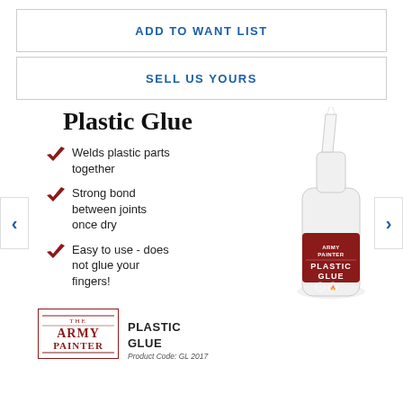ADD TO WANT LIST
SELL US YOURS
Plastic Glue
Welds plastic parts together
Strong bond between joints once dry
Easy to use - does not glue your fingers!
[Figure (photo): Bottle of Army Painter Plastic Glue]
THE ARMY PAINTER PLASTIC GLUE Product Code: GL2017